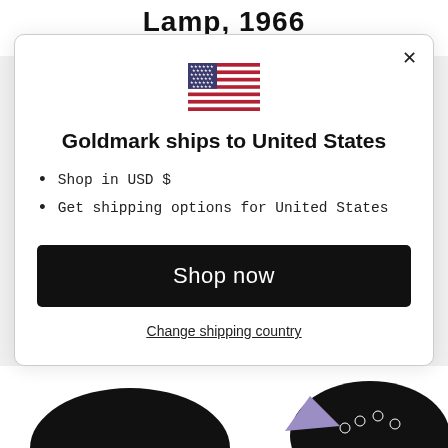Lamp, 1966
By Patrick Caulfield
[Figure (screenshot): Modal dialog box with US flag, title 'Goldmark ships to United States', bullet points 'Shop in USD $' and 'Get shipping options for United States', a black 'Shop now' button, and a 'Change shipping country' link]
Shop in USD $
Get shipping options for United States
Shop now
Change shipping country